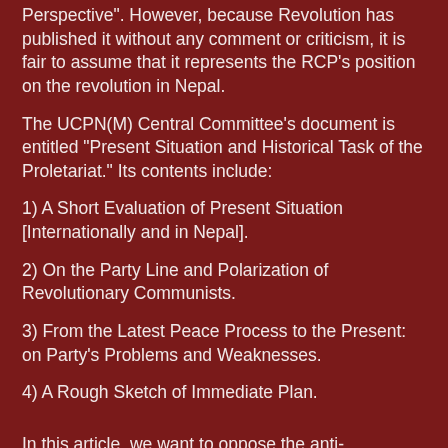Perspective". However, because Revolution has published it without any comment or criticism, it is fair to assume that it represents the RCP’s position on the revolution in Nepal.
The UCPN(M) Central Committee’s document is entitled “Present Situation and Historical Task of the Proletariat.” Its contents include:
1) A Short Evaluation of Present Situation [Internationally and in Nepal].
2) On the Party Line and Polarization of Revolutionary Communists.
3) From the Latest Peace Process to the Present: on Party’s Problems and Weaknesses.
4) A Rough Sketch of Immediate Plan.
In this article, we want to oppose the anti-revolutionary RCP line and show the importance of building support for the